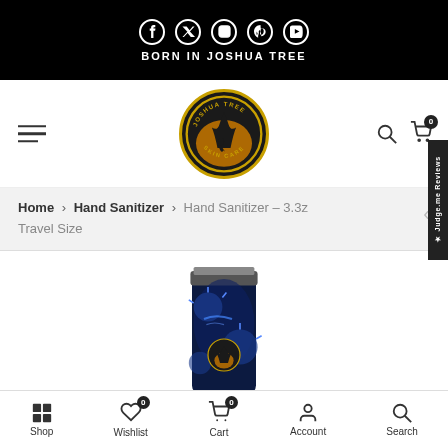BORN IN JOSHUA TREE
[Figure (logo): Joshua Tree Skin Care circular logo with tree and person silhouette in orange/gold on dark background]
Home > Hand Sanitizer > Hand Sanitizer - 3.3z Travel Size
[Figure (photo): Hand sanitizer tube product with dark navy packaging featuring Joshua Tree branding and virus/germ imagery]
Shop  Wishlist 0  Cart 0  Account  Search